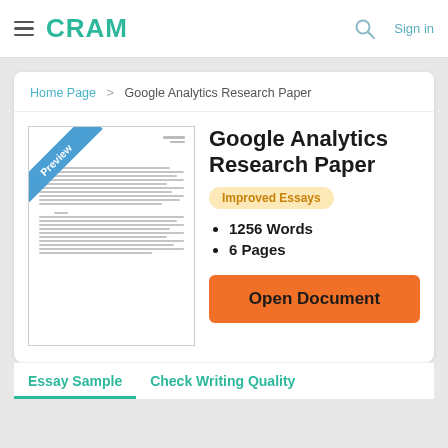CRAM  Sign in
Home Page > Google Analytics Research Paper
[Figure (screenshot): Preview thumbnail of a document page with a blue 'Preview' diagonal banner in the top-left corner and lines of faux text]
Google Analytics Research Paper
Improved Essays
1256 Words
6 Pages
Open Document
Essay Sample  Check Writing Quality